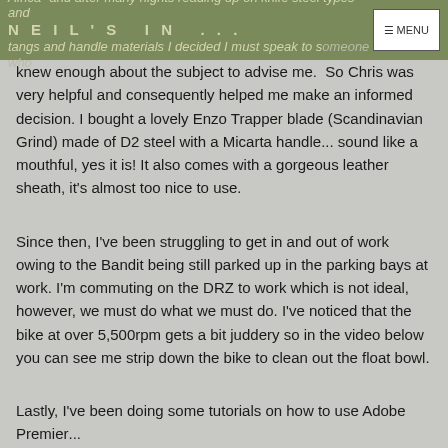Africa" and after many nights reading up on knife steel types and tangs and handle materials I decided I must speak to someone who | NEIL'S IN... | ☰ MENU
knew enough about the subject to advise me. So Chris was very helpful and consequently helped me make an informed decision. I bought a lovely Enzo Trapper blade (Scandinavian Grind) made of D2 steel with a Micarta handle... sound like a mouthful, yes it is! It also comes with a gorgeous leather sheath, it's almost too nice to use.
Since then, I've been struggling to get in and out of work owing to the Bandit being still parked up in the parking bays at work. I'm commuting on the DRZ to work which is not ideal, however, we must do what we must do. I've noticed that the bike at over 5,500rpm gets a bit juddery so in the video below you can see me strip down the bike to clean out the float bowl.
Lastly, I've been doing some tutorials on how to use Adobe Premier...